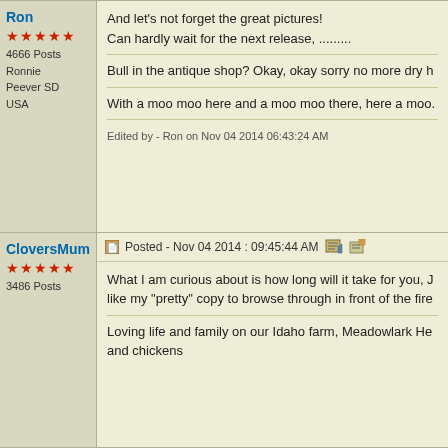Ron
★★★★★
4666 Posts
Ronnie
Peever SD
USA
And let's not forget the great pictures!
Can hardly wait for the next release, .........
Bull in the antique shop? Okay, okay sorry no more dry h
With a moo moo here and a moo moo there, here a moo.
Edited by - Ron on Nov 04 2014 06:43:24 AM
CloversMum
★★★★★
3486 Posts
Posted - Nov 04 2014 :  09:45:44 AM
What I am curious about is how long will it take for you, J like my "pretty" copy to browse through in front of the fire
Loving life and family on our Idaho farm, Meadowlark He and chickens